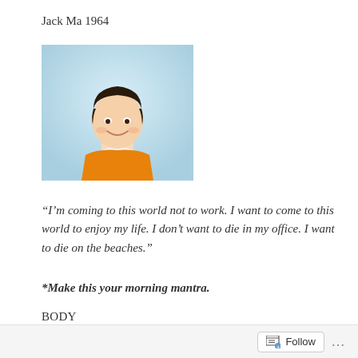Jack Ma 1964
[Figure (photo): Portrait photo of Jack Ma smiling, wearing an orange sweater, against a light blue background]
“I’m coming to this world not to work. I want to come to this world to enjoy my life. I don’t want to die in my office. I want to die on the beaches.”
*Make this your morning mantra.
BODY
Roger Maris 1934 – chop wood
Follow ...